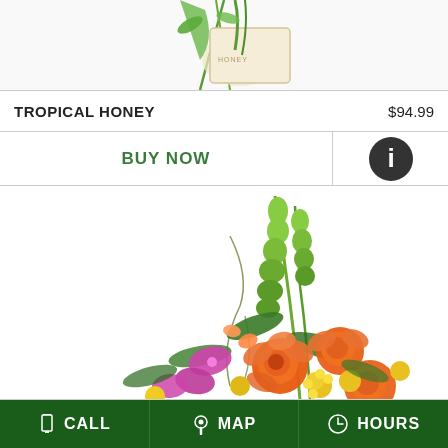[Figure (photo): Partial view of Tropical Honey flower arrangement at top of page]
TROPICAL HONEY    $94.99
BUY NOW
[Figure (photo): Colorful flower arrangement featuring orange roses, yellow flowers, purple orchids, and tall green stems on a white background]
CALL   MAP   HOURS